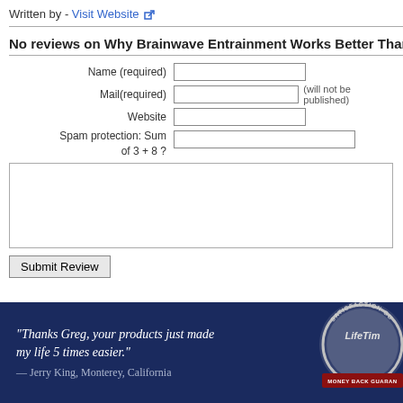Written by - Visit Website [external link icon]
No reviews on Why Brainwave Entrainment Works Better Than Hyp…
Name (required) [input field]
Mail(required) [input field] (will not be published)
Website [input field]
Spam protection: Sum of 3 + 8 ? [input field]
[text area for comment]
Submit Review
“Thanks Greg, your products just made my life 5 times easier.” — Jerry King, Monterey, California